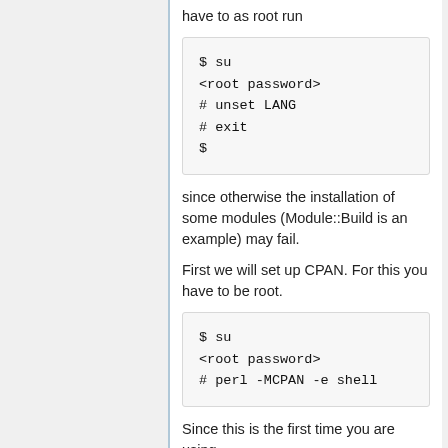have to as root run
$ su
<root password>
# unset LANG
# exit
$
since otherwise the installation of some modules (Module::Build is an example) may fail.
First we will set up CPAN. For this you have to be root.
$ su
<root password>
# perl -MCPAN -e shell
Since this is the first time you are using